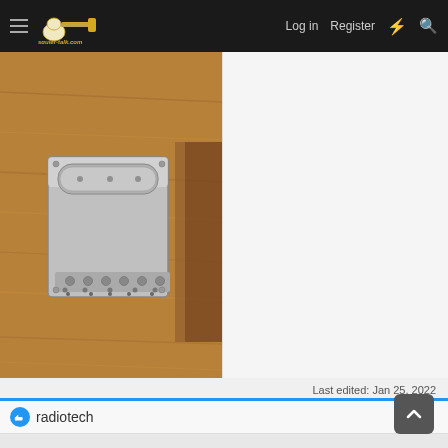squier-talk.com  Log in  Register
[Figure (photo): A chrome Telecaster-style guitar bridge plate with a barrel saddle, placed on a wooden surface. The bridge has mounting screw holes along the bottom edge.]
Last edited: Jan 25, 2022
radiotech